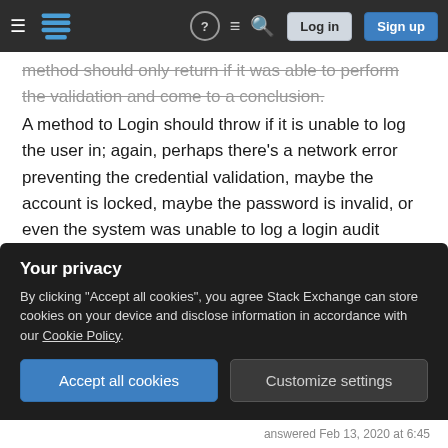Stack Exchange navigation bar with hamburger menu, logo, help, chat, search icons, Log in and Sign up buttons
method should only return if it was able to perform the validation and come to a conclusion.
A method to Login should throw if it is unable to log the user in; again, perhaps there's a network error preventing the credential validation, maybe the account is locked, maybe the password is invalid, or even the system was unable to log a login audit record after successfully validating the credentials. The expectation when Login is called and returns is that the user is now logged in with appropriate privileges assigned. If Login cannot exit in that state,
Your privacy
By clicking "Accept all cookies", you agree Stack Exchange can store cookies on your device and disclose information in accordance with our Cookie Policy.
Accept all cookies
Customize settings
answered Feb 13, 2020 at 6:45